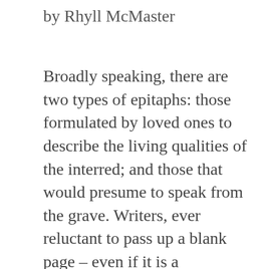by Rhyll McMaster
Broadly speaking, there are two types of epitaphs: those formulated by loved ones to describe the living qualities of the interred; and those that would presume to speak from the grave. Writers, ever reluctant to pass up a blank page – even if it is a tombstone – are disproportionate constituents of the latter. H.G.